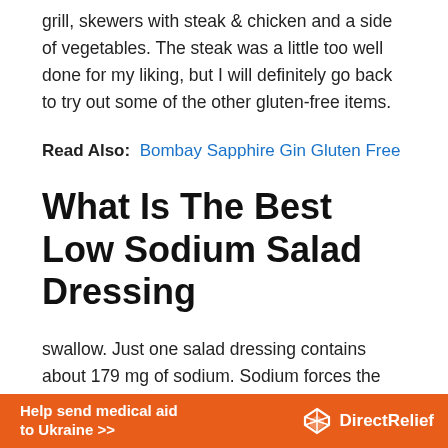grill, skewers with steak & chicken and a side of vegetables. The steak was a little too well done for my liking, but I will definitely go back to try out some of the other gluten-free items.
Read Also:  Bombay Sapphire Gin Gluten Free
What Is The Best Low Sodium Salad Dressing
swallow. Just one salad dressing contains about 179 mg of sodium. Sodium forces the body to retain water, and a low-sodium diet helps control high blood pressure and fluid retention. Any food with less than 5 mg of sodium is considered a low-sodium food if the sodium content is less
[Figure (infographic): Orange advertisement banner reading 'Help send medical aid to Ukraine >>' with Direct Relief logo on the right side]